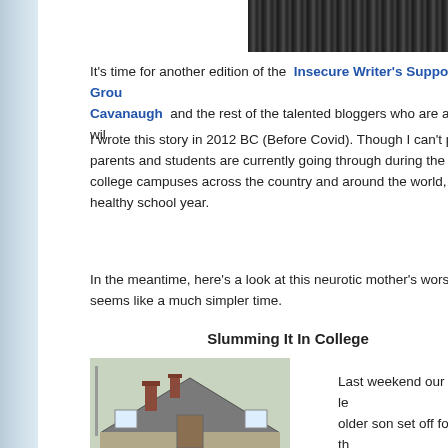[Figure (photo): Dark banner/header image at the top of the blog post, showing an indistinct textured pattern in dark gray/black tones]
It's time for another edition of the  Insecure Writer's Support Grou... Cavanaugh  and the rest of the talented bloggers who are always wil...
I wrote this story in 2012 BC (Before Covid). Though I can't pos... parents and students are currently going through during the Co... college campuses across the country and around the world, I w... healthy school year.
In the meantime, here's a look at this neurotic mother's worst fe... seems like a much simpler time.
Slumming It In College
[Figure (photo): Photo of a house rooftop with chimneys against a light sky, taken from below]
Last weekend our boys le... older son set off for his th...